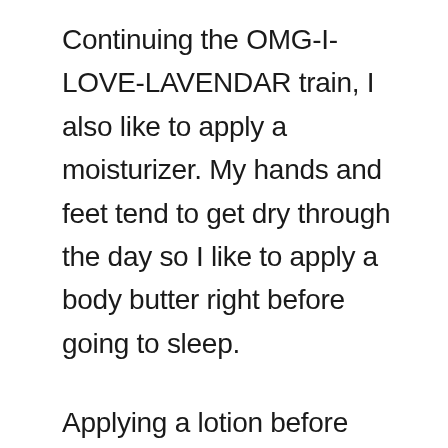Continuing the OMG-I-LOVE-LAVENDAR train, I also like to apply a moisturizer. My hands and feet tend to get dry through the day so I like to apply a body butter right before going to sleep.
Applying a lotion before bed creates softer, more hydrated, and better-looking skin the next day. It also helps seal in moisture and repairs the skin barrier that's compromised by dry air